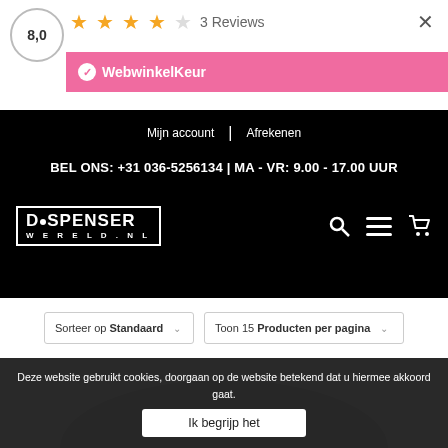[Figure (screenshot): WebwinkelKeur review bar showing score 8.0, 3 stars out of 5, 3 Reviews, and WebwinkelKeur logo on pink background]
Mijn account | Afrekenen
BEL ONS: +31 036-5256134 | MA - VR: 9.00 - 17.00 UUR
[Figure (logo): DispenserWereld.nl logo in white on black background with search, menu, and cart icons]
Sorteer op Standaard
Toon 15 Producten per pagina
Deze website gebruikt cookies, doorgaan op de website betekend dat u hiermee akkoord gaat.
Ik begrijp het